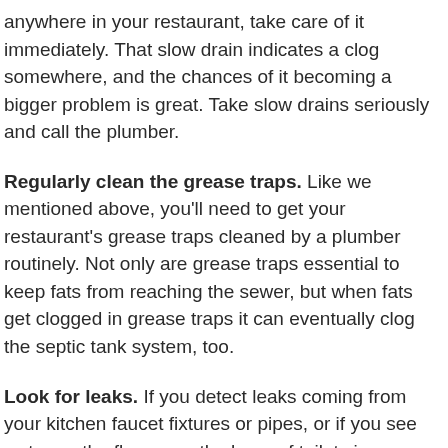anywhere in your restaurant, take care of it immediately. That slow drain indicates a clog somewhere, and the chances of it becoming a bigger problem is great. Take slow drains seriously and call the plumber.
Regularly clean the grease traps. Like we mentioned above, you'll need to get your restaurant's grease traps cleaned by a plumber routinely. Not only are grease traps essential to keep fats from reaching the sewer, but when fats get clogged in grease traps it can eventually clog the septic tank system, too.
Look for leaks. If you detect leaks coming from your kitchen faucet fixtures or pipes, or if you see water on the floor near the base of toilets in your restaurant's restroom, it's time to call a plumber. Like with slow drains, try to enlist a